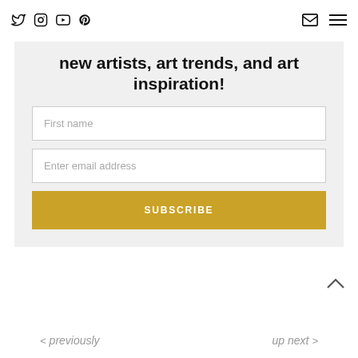Twitter Instagram YouTube Pinterest | Email | Menu
new artists, art trends, and art inspiration!
First name
Enter email address
SUBSCRIBE
< previously    up next >